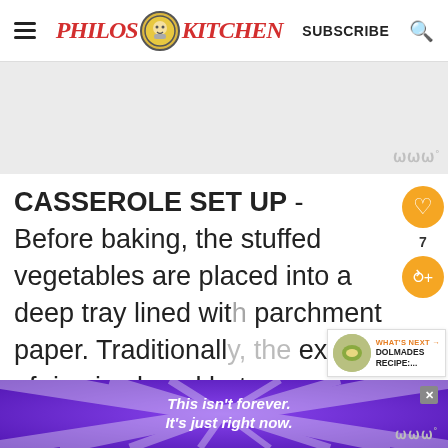PHILOS KITCHEN — SUBSCRIBE
[Figure (other): Gray advertisement placeholder area]
CASSEROLE SET UP - Before baking, the stuffed vegetables are placed into a deep tray lined with parchment paper. Traditionally, the excess of rice is placed between the...
[Figure (other): Bottom advertisement banner: purple background with rays, text 'This isn't forever. It's just right now.']